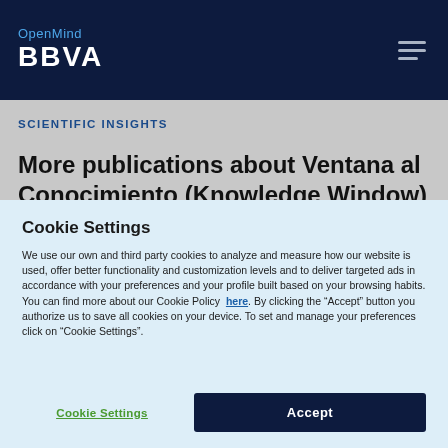OpenMind BBVA
SCIENTIFIC INSIGHTS
More publications about Ventana al Conocimiento (Knowledge Window)
Cookie Settings
We use our own and third party cookies to analyze and measure how our website is used, offer better functionality and customization levels and to deliver targeted ads in accordance with your preferences and your profile built based on your browsing habits. You can find more about our Cookie Policy here. By clicking the “Accept” button you authorize us to save all cookies on your device. To set and manage your preferences click on “Cookie Settings”.
Cookie Settings | Accept